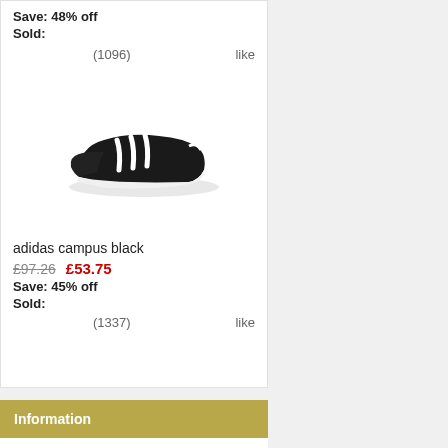Save: 48% off
Sold:
(1096)   like
[Figure (photo): Adidas Campus black sneaker shoe, viewed from the side, black with white stripes and white sole]
adidas campus black
£97.26  £53.75
Save: 45% off
Sold:
(1337)   like
Information
Shipping & Returns
Privacy Notice